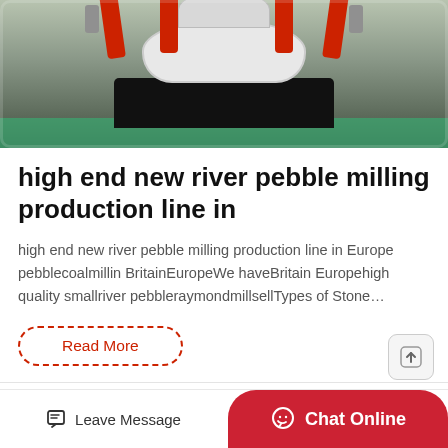[Figure (photo): Industrial milling machine with red hydraulic pipes on white/grey body sitting on black base, photographed in factory with green floor]
high end new river pebble milling production line in
high end new river pebble milling production line in Europe pebblecoalmillin BritainEuropeWe haveBritain Europehigh quality smallriver pebbleraymondmillsellTypes of Stone…
Read More
Leave Message  Chat Online